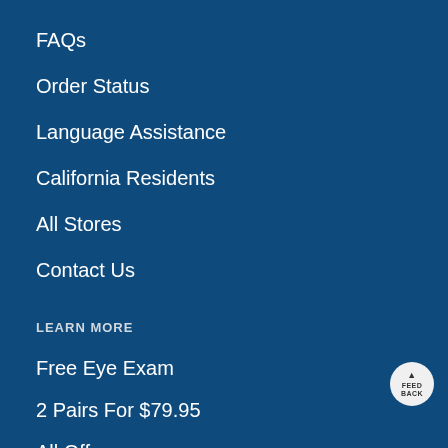FAQs
Order Status
Language Assistance
California Residents
All Stores
Contact Us
LEARN MORE
Free Eye Exam
2 Pairs For $79.95
All Offers
Contacts For $11/Month
Vision & Eye Health